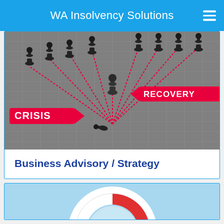WA Insolvency Solutions
[Figure (illustration): Black chess pawns arranged on a grid background with red arrows and labels reading CRISIS and RECOVERY, illustrating business strategy and recovery from crisis]
Business Advisory / Strategy
[Figure (illustration): Partial view of a white and red life preserver ring on a light blue background]